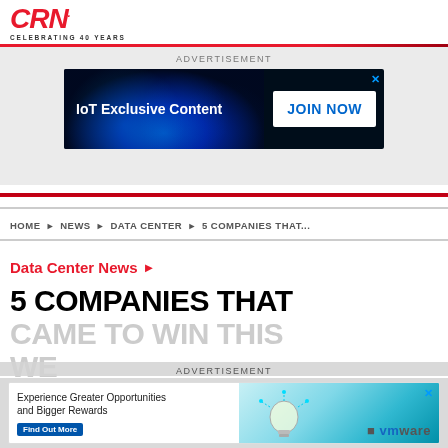CRN. CELEBRATING 40 YEARS
ADVERTISEMENT
[Figure (infographic): Advertisement banner: IoT Exclusive Content with JOIN NOW button on dark blue background]
HOME ▶ NEWS ▶ DATA CENTER ▶ 5 COMPANIES THAT...
Data Center News ▶
5 COMPANIES THAT CAME TO WIN THIS WE...
ADVERTISEMENT
[Figure (infographic): Advertisement banner: Experience Greater Opportunities and Bigger Rewards with VMware logo and lightbulb graphic]